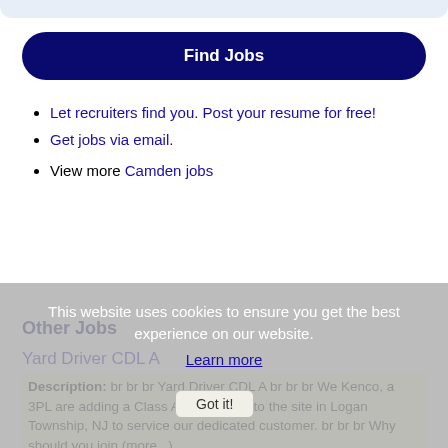[Figure (other): Top decorative bar with light blue rounded bottom]
Find Jobs
Let recruiters find you. Post your resume for free!
Get jobs via email.
View more Camden jobs
This website uses cookies to ensure you get the best experience on our website.
Learn more
Other Jobs
Yard Driver CDL A
Description: br br br Yard Driver CDL A br br br We Kenco, a 3PL are adding a Class A Yard Driver to the site in Logan Township, NJ to service our dedicated customer. br br br Why should you join (more...)